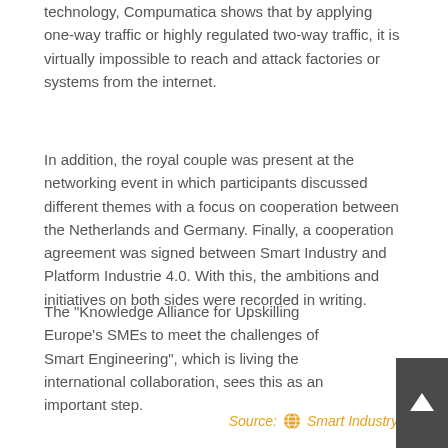technology, Compumatica shows that by applying one-way traffic or highly regulated two-way traffic, it is virtually impossible to reach and attack factories or systems from the internet.
In addition, the royal couple was present at the networking event in which participants discussed different themes with a focus on cooperation between the Netherlands and Germany. Finally, a cooperation agreement was signed between Smart Industry and Platform Industrie 4.0. With this, the ambitions and initiatives on both sides were recorded in writing.
The "Knowledge Alliance for Upskilling Europe's SMEs to meet the challenges of Smart Engineering", which is living the international collaboration, sees this as an important step.
Source: Smart Industry